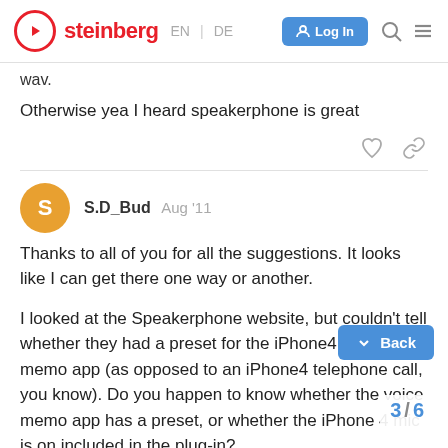steinberg EN | DE [Log In]
wav.
Otherwise yea I heard speakerphone is great
S.D_Bud  Aug '11
Thanks to all of you for all the suggestions. It looks like I can get there one way or another.
I looked at the Speakerphone website, but couldn't tell whether they had a preset for the iPhone4 voice memo app (as opposed to an iPhone4 telephone call, you know). Do you happen to know whether the voice memo app has a preset, or whether the iPhone 4 mic is one of the mics included in the plug-in?